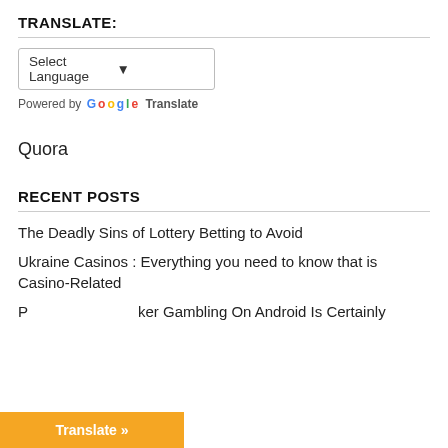TRANSLATE:
[Figure (screenshot): Google Translate widget with 'Select Language' dropdown and 'Powered by Google Translate' text]
Quora
RECENT POSTS
The Deadly Sins of Lottery Betting to Avoid
Ukraine Casinos : Everything you need to know that is Casino-Related
P...ker Gambling On Android Is Certainly
[Figure (screenshot): Orange 'Translate »' button overlay at bottom left]